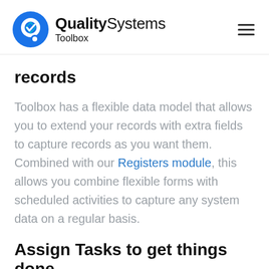[Figure (logo): Quality Systems Toolbox logo with blue circular Q icon and brand name]
records
Toolbox has a flexible data model that allows you to extend your records with extra fields to capture records as you want them. Combined with our Registers module, this allows you combine flexible forms with scheduled activities to capture any system data on a regular basis.
Assign Tasks to get things done
Toolbox allows to assign Tasks to users for